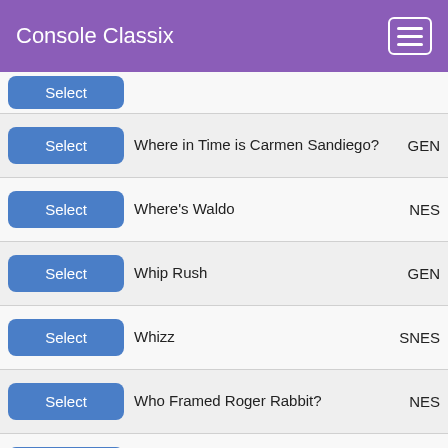Console Classix
Where in Time is Carmen Sandiego? | GEN
Where's Waldo | NES
Whip Rush | GEN
Whizz | SNES
Who Framed Roger Rabbit? | NES
Who Framed Roger Rabbit? | GB
Who Wants to Be a Millionaire? 2nd Edition | GBC
Whomn'Em | NES